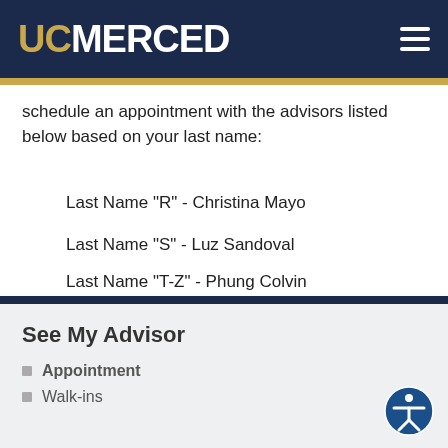UC MERCED
schedule an appointment with the advisors listed below based on your last name:
Last Name "R" - Christina Mayo
Last Name "S" - Luz Sandoval
Last Name "T-Z" - Phung Colvin
See My Advisor
Appointment
Walk-ins